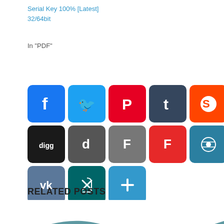Serial Key 100% [Latest]
32/64bit
In "PDF"
[Figure (other): Social media sharing icon buttons arranged in rows: Facebook, Twitter, Pinterest, Tumblr, Reddit, LinkedIn, Amazon, Mix, Buffer (row 1); Digg, Delicious, Flipboard, Flipboard-red, StumbleUpon, Instapaper, Myspace, Pinboard, Pocket (row 2); VK, Xing, Add (row 3)]
RELATED POSTS
[Figure (illustration): Abstract blue wave design with flowing curved bands in dark blue, medium blue, and white on a white background]